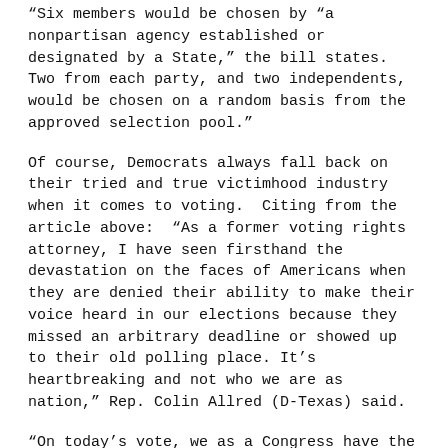“Six members would be chosen by “a nonpartisan agency established or designated by a State,” the bill states. Two from each party, and two independents, would be chosen on a random basis from the approved selection pool.”
Of course, Democrats always fall back on their tried and true victimhood industry when it comes to voting.  Citing from the article above:  “As a former voting rights attorney, I have seen firsthand the devastation on the faces of Americans when they are denied their ability to make their voice heard in our elections because they missed an arbitrary deadline or showed up to their old polling place. It’s heartbreaking and not who we are as nation,” Rep. Colin Allred (D-Texas) said.
“On today’s vote, we as a Congress have the